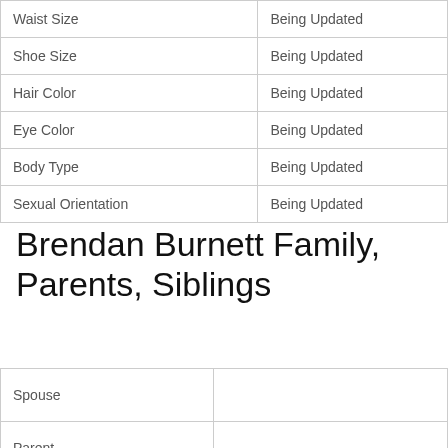| Attribute | Value |
| --- | --- |
| Waist Size | Being Updated |
| Shoe Size | Being Updated |
| Hair Color | Being Updated |
| Eye Color | Being Updated |
| Body Type | Being Updated |
| Sexual Orientation | Being Updated |
Brendan Burnett Family, Parents, Siblings
| Relationship | Name |
| --- | --- |
| Spouse |  |
| Parent |  |
|  |  |